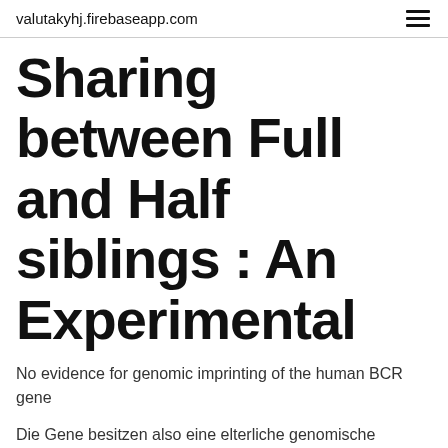valutakyhj.firebaseapp.com
Sharing between Full and Half siblings : An Experimental
No evidence for genomic imprinting of the human BCR gene
Die Gene besitzen also eine elterliche genomische Prägung. Imprinting beruht auf epigenetischen